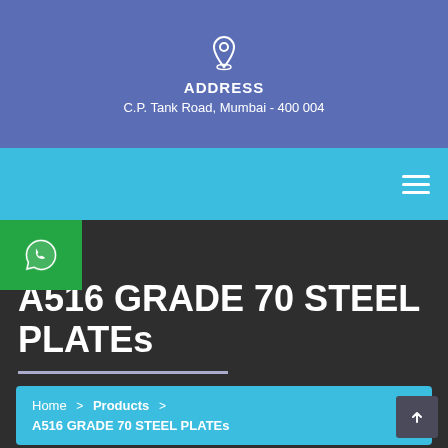[Figure (infographic): Blue header section with location pin icon, ADDRESS label in bold white, and address text below]
ADDRESS
C.P. Tank Road, Mumbai - 400 004
[Figure (infographic): Light blue navigation bar with hamburger menu icon on the right]
[Figure (infographic): Green WhatsApp button with phone icon in top left]
A516 GRADE 70 STEEL PLATEs
Home > Products > A516 GRADE 70 STEEL PLATEs